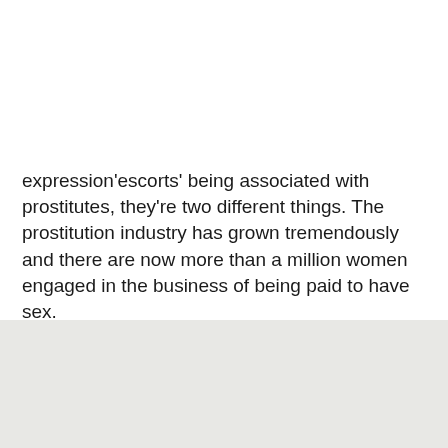expression'escorts' being associated with prostitutes, they're two different things. The prostitution industry has grown tremendously and there are now more than a million women engaged in the business of being paid to have sex.
[Figure (other): Gray background rectangle block at bottom of page]